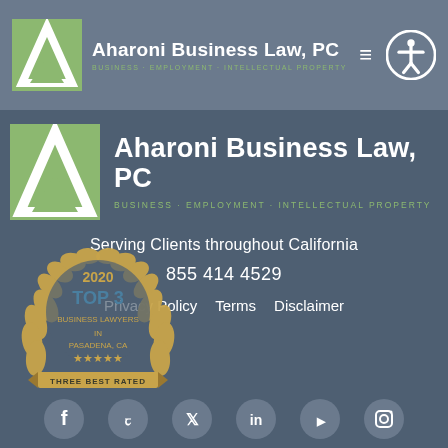Aharoni Business Law, PC — BUSINESS · EMPLOYMENT · INTELLECTUAL PROPERTY
[Figure (logo): Aharoni Business Law, PC logo with green A icon and firm name, tagline: BUSINESS · EMPLOYMENT · INTELLECTUAL PROPERTY]
Serving Clients throughout California
855 414 4529
Privacy Policy   Terms   Disclaimer
[Figure (illustration): 2020 Top 3 Three Best Rated award badge with golden laurel wreath and ribbon]
[Figure (illustration): Social media icons row: Facebook, Yelp, Twitter, LinkedIn, YouTube, Instagram]